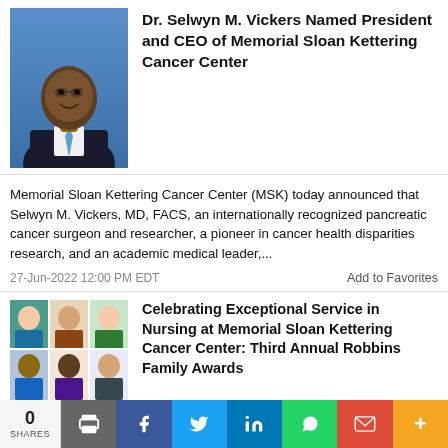Dr. Selwyn M. Vickers Named President and CEO of Memorial Sloan Kettering Cancer Center
[Figure (photo): Professional headshot of Dr. Selwyn M. Vickers in a dark suit with a blue tie against a blue background]
Memorial Sloan Kettering Cancer Center (MSK) today announced that Selwyn M. Vickers, MD, FACS, an internationally recognized pancreatic cancer surgeon and researcher, a pioneer in cancer health disparities research, and an academic medical leader,...
27-Jun-2022 12:00 PM EDT
Add to Favorites
[Figure (photo): Grid of 6 professional headshots of nurses being honored with the Robbins Family Award]
Celebrating Exceptional Service in Nursing at Memorial Sloan Kettering Cancer Center: Third Annual Robbins Family Awards
Memorial Sloan Kettering Cancer Center (MSK) and the Robbins Family Foundation are proud to announce today that 13 distinguished MSK nurses and one nursing team were recognized with the 2022 Robbins Family Award for Nursing Excellence.